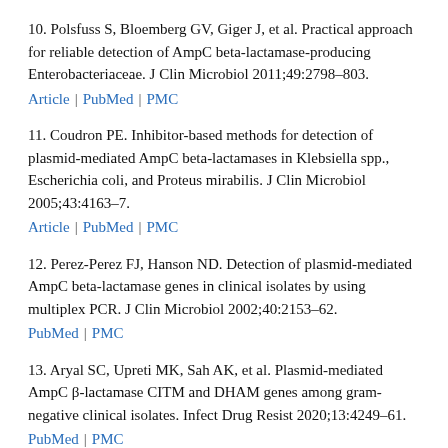10. Polsfuss S, Bloemberg GV, Giger J, et al. Practical approach for reliable detection of AmpC beta-lactamase-producing Enterobacteriaceae. J Clin Microbiol 2011;49:2798–803. Article | PubMed | PMC
11. Coudron PE. Inhibitor-based methods for detection of plasmid-mediated AmpC beta-lactamases in Klebsiella spp., Escherichia coli, and Proteus mirabilis. J Clin Microbiol 2005;43:4163–7. Article | PubMed | PMC
12. Perez-Perez FJ, Hanson ND. Detection of plasmid-mediated AmpC beta-lactamase genes in clinical isolates by using multiplex PCR. J Clin Microbiol 2002;40:2153–62. PubMed | PMC
13. Aryal SC, Upreti MK, Sah AK, et al. Plasmid-mediated AmpC β-lactamase CITM and DHAM genes among gram-negative clinical isolates. Infect Drug Resist 2020;13:4249–61. PubMed | PMC